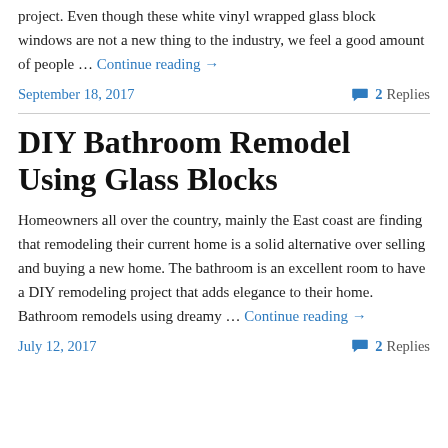project. Even though these white vinyl wrapped glass block windows are not a new thing to the industry, we feel a good amount of people … Continue reading →
September 18, 2017
2 Replies
DIY Bathroom Remodel Using Glass Blocks
Homeowners all over the country, mainly the East coast are finding that remodeling their current home is a solid alternative over selling and buying a new home. The bathroom is an excellent room to have a DIY remodeling project that adds elegance to their home. Bathroom remodels using dreamy … Continue reading →
July 12, 2017
2 Replies